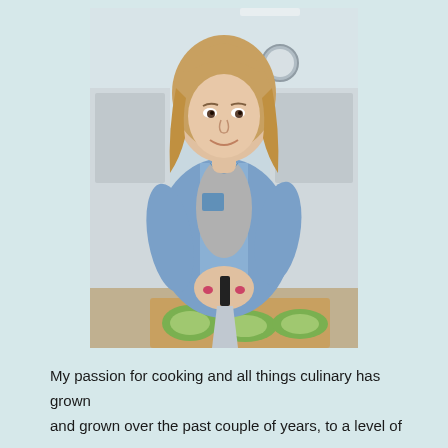[Figure (photo): A woman with long blonde hair wearing a light blue denim shirt over a grey top, standing at a kitchen counter holding a large chef's knife, with sliced green avocados on a wooden cutting board in front of her. The kitchen background is light and airy with white and light blue tones.]
My passion for cooking and all things culinary has grown and grown over the past couple of years, to a level of